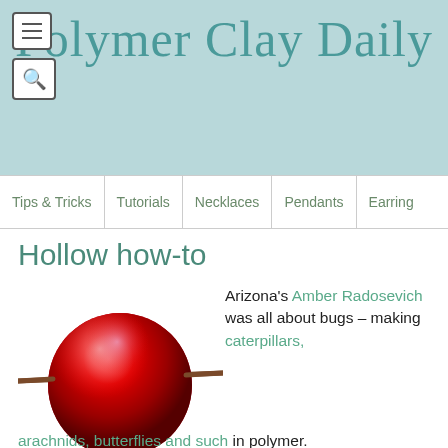Polymer Clay Daily
Tips & Tricks | Tutorials | Necklaces | Pendants | Earrings
Hollow how-to
[Figure (photo): A translucent red spherical polymer clay bead threaded on a thin brown rod/skewer, photographed against a white background.]
Arizona's Amber Radosevich was all about bugs – making caterpillars, arachnids, butterflies and such in polymer.
When she started experimenting with translucent polymer, her work took a turn to amber and imitative